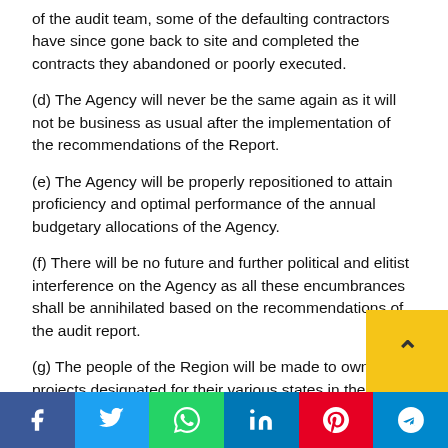of the audit team, some of the defaulting contractors have since gone back to site and completed the contracts they abandoned or poorly executed.
(d) The Agency will never be the same again as it will not be business as usual after the implementation of the recommendations of the Report.
(e) The Agency will be properly repositioned to attain proficiency and optimal performance of the annual budgetary allocations of the Agency.
(f) There will be no future and further political and elitist interference on the Agency as all these encumbrances shall be annihilated based on the recommendations of the audit report.
(g) The people of the Region will be made to own all the projects designated for their various states in the Re… Etc.
Facebook | Twitter | WhatsApp | LinkedIn | Pinterest | Telegram